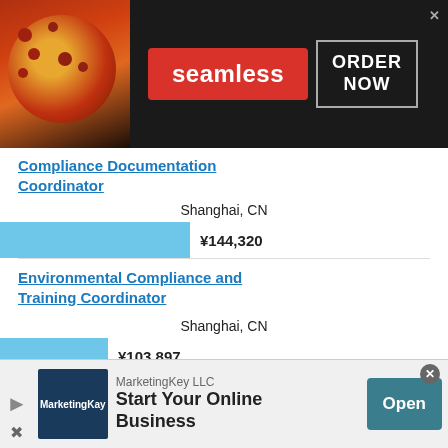[Figure (screenshot): Seamless food delivery advertisement banner with pizza image, red Seamless badge, and ORDER NOW button on dark background]
Compliance Documentation Coordinator
Shanghai, CN
¥144,320
Environmental Compliance and Training Coordinator
Shanghai, CN
¥103,897
This site uses cookies and other similar technologies to provide site functionality, analyze traffic and usage, and
[Figure (screenshot): MarketingKey LLC advertisement banner: Start Your Online Business, with Open button]